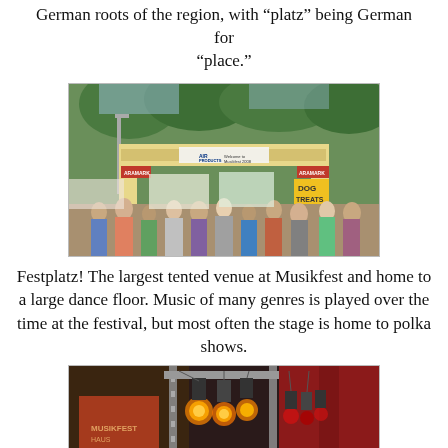German roots of the region, with "platz" being German for "place."
[Figure (photo): Festival entrance arch with 'Air Products' branding and 'Welcome to Musikfest 2008' text, crowds of people entering, with vendor signs and trees in background.]
Festplatz! The largest tented venue at Musikfest and home to a large dance floor. Music of many genres is played over the time at the festival, but most often the stage is home to polka shows.
[Figure (photo): Interior of a festival tent venue showing stage lighting rigs with warm orange/yellow lights and red spotlights, metal truss structures, and tent interior.]